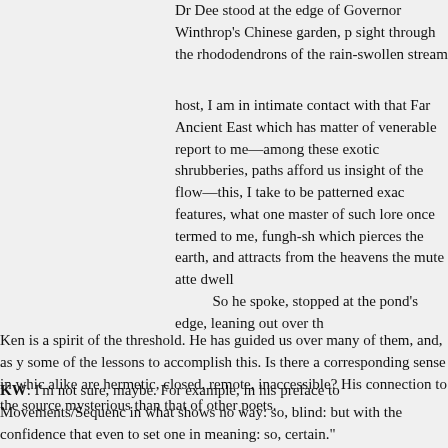Dr Dee stood at the edge of Governor Winthrop's Chinese garden, p sight through the rhododendrons of the rain-swollen stream
host, I am in intimate contact with that Far Ancient East which has matter of venerable report to me—among these exotic shrubberies, paths afford us insight of the flow—this, I take to be patterned exac features, what one master of such lore once termed to me, fungh-sh which pierces the earth, and attracts from the heavens the mute atte dwell
    So he spoke, stopped at the pond's edge, leaning out over th
Ken is a spirit of the threshold. He has guided us over many of them, and, as y some of the lessons to accomplish this. Is there a corresponding sense in whic alike are hermetic, closed, remote, inaccessible? His connection to the source mysterious than that of other poets.
KW: I'm not sure, maybe. For example, in his preface to Movements/Sequenc in what shows no way: so, blind: but with the confidence that even to set one in meaning: so, certain."